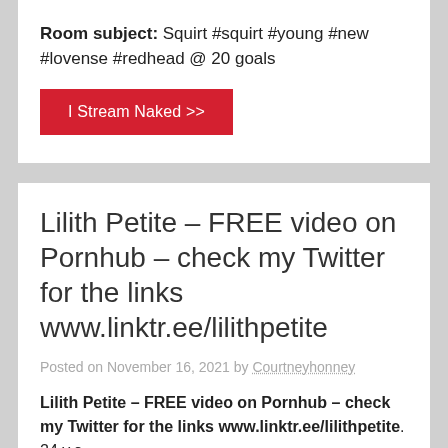Room subject: Squirt #squirt #young #new #lovense #redhead @ 20 goals
I Stream Naked >>
Lilith Petite – FREE video on Pornhub – check my Twitter for the links www.linktr.ee/lilithpetite
Posted on November 16, 2021 by Courtneyhonney
Lilith Petite – FREE video on Pornhub – check my Twitter for the links www.linktr.ee/lilithpetite. 24 y.o.